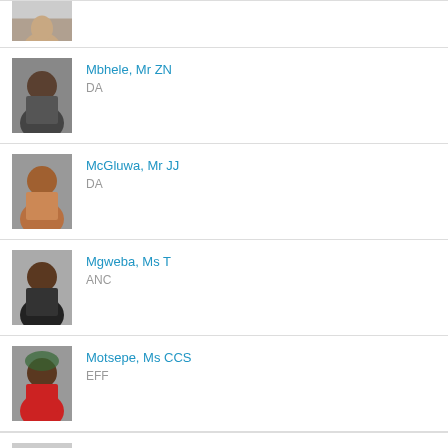[Figure (photo): Partial photo of a person visible at top of page]
Mbhele, Mr ZN
DA
[Figure (photo): Photo of Mbhele, Mr ZN]
McGluwa, Mr JJ
DA
[Figure (photo): Photo of McGluwa, Mr JJ]
Mgweba, Ms T
ANC
[Figure (photo): Photo of Mgweba, Ms T]
Motsepe, Ms CCS
EFF
[Figure (photo): Photo of Motsepe, Ms CCS]
Ntuli, Ms M M